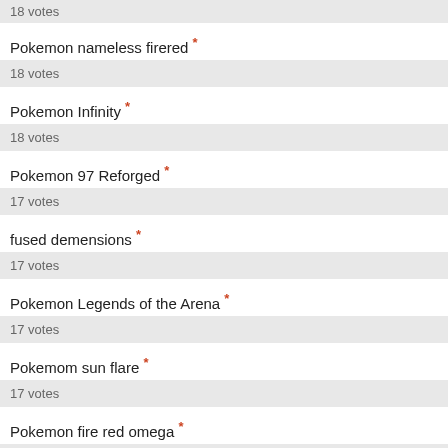18 votes
Pokemon nameless firered *
18 votes
Pokemon Infinity *
18 votes
Pokemon 97 Reforged *
17 votes
fused demensions *
17 votes
Pokemon Legends of the Arena *
17 votes
Pokemom sun flare *
17 votes
Pokemon fire red omega *
17 votes